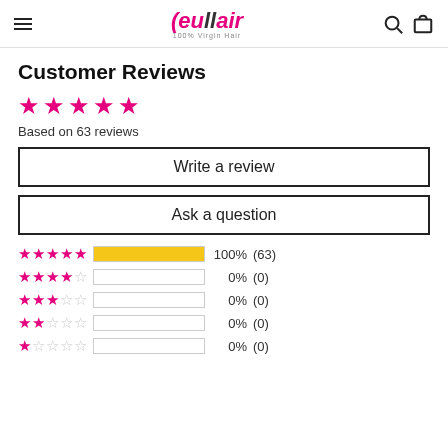eullair 100% Virgin Hair
Customer Reviews
Based on 63 reviews
Write a review
Ask a question
[Figure (bar-chart): Review rating distribution]